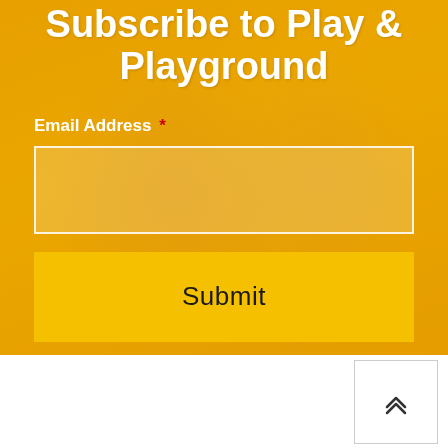Subscribe to Play & Playground
Email Address *
[Figure (other): Email address text input field with white border on golden background]
[Figure (other): Submit button with yellow background and dark text]
[Figure (other): Scroll-to-top button with upward chevron arrow, white background with border, bottom right corner]